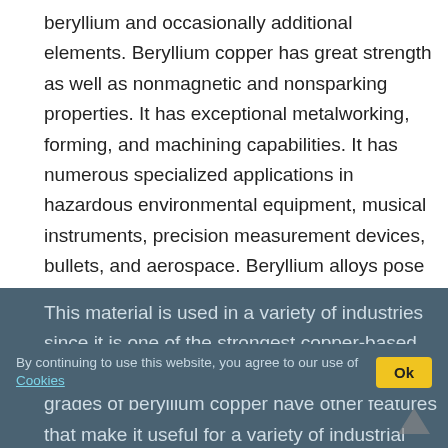beryllium and occasionally additional elements. Beryllium copper has great strength as well as nonmagnetic and nonsparking properties. It has exceptional metalworking, forming, and machining capabilities. It has numerous specialized applications in hazardous environmental equipment, musical instruments, precision measurement devices, bullets, and aerospace. Beryllium alloys pose a hazardous inhalation risk during production.
This material is used in a variety of industries since it is one of the strongest copper-based alloys. Aside from its great strength, different grades of beryllium copper have other features that make it useful for a variety of industrial applications, such as superior